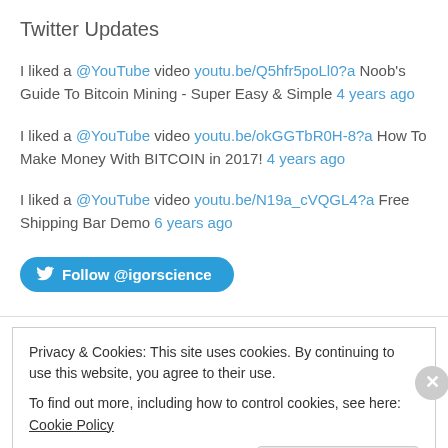Twitter Updates
I liked a @YouTube video youtu.be/Q5hfr5poLl0?a Noob's Guide To Bitcoin Mining - Super Easy & Simple 4 years ago
I liked a @YouTube video youtu.be/okGGTbR0H-8?a How To Make Money With BITCOIN in 2017! 4 years ago
I liked a @YouTube video youtu.be/N19a_cVQGL4?a Free Shipping Bar Demo 6 years ago
Follow @igorscience
Privacy & Cookies: This site uses cookies. By continuing to use this website, you agree to their use.
To find out more, including how to control cookies, see here: Cookie Policy
Close and accept